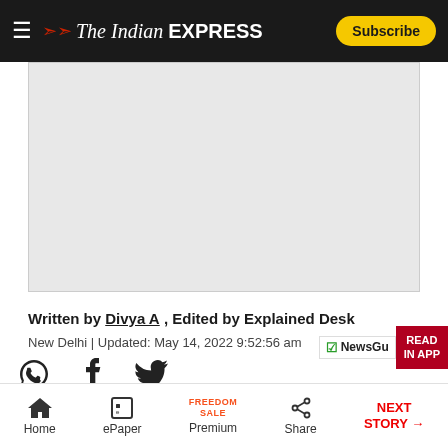The Indian Express — Subscribe
[Figure (photo): Large image placeholder area (grey rectangle) below the navigation header]
Written by Divya A , Edited by Explained Desk
New Delhi | Updated: May 14, 2022 9:52:56 am
[Figure (other): Social sharing icons: WhatsApp, Facebook, Twitter]
[Figure (logo): Express Explained logo on blue banner]
Home | ePaper | Premium | Share | NEXT STORY